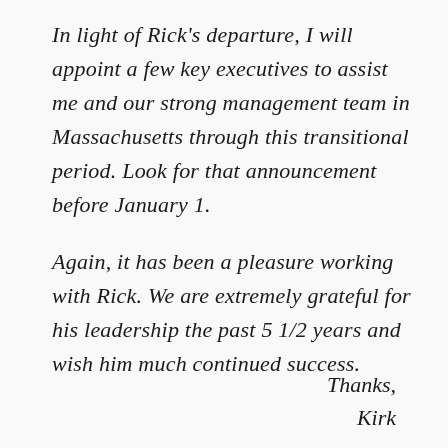In light of Rick's departure, I will appoint a few key executives to assist me and our strong management team in Massachusetts through this transitional period. Look for that announcement before January 1.
Again, it has been a pleasure working with Rick. We are extremely grateful for his leadership the past 5 1/2 years and wish him much continued success.
Thanks,
Kirk